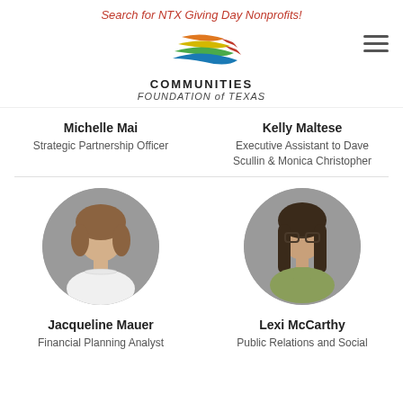Search for NTX Giving Day Nonprofits!
[Figure (logo): Communities Foundation of Texas logo with colorful swoosh graphic above the text COMMUNITIES FOUNDATION of TEXAS]
Michelle Mai
Kelly Maltese
Strategic Partnership Officer
Executive Assistant to Dave Scullin & Monica Christopher
[Figure (photo): Circular headshot photo of Jacqueline Mauer, a woman with brown bob hair wearing a pearl necklace]
[Figure (photo): Circular headshot photo of Lexi McCarthy, a young woman with long dark hair wearing glasses and a yellow-green turtleneck]
Jacqueline Mauer
Lexi McCarthy
Financial Planning Analyst
Public Relations and Social